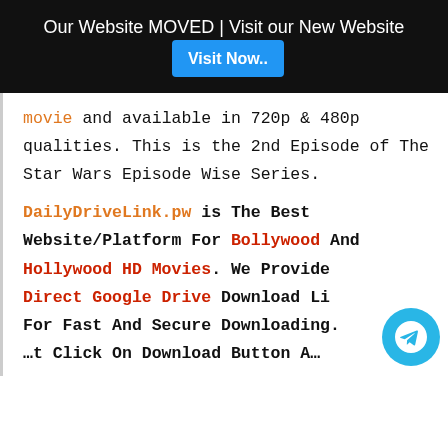Our Website MOVED | Visit our New Website  [Visit Now..]
movie and available in 720p & 480p qualities. This is the 2nd Episode of The Star Wars Episode Wise Series.
DailyDriveLink.pw is The Best Website/Platform For Bollywood And Hollywood HD Movies. We Provide Direct Google Drive Download Li... For Fast And Secure Downloading. ...t Click On Download Button A...